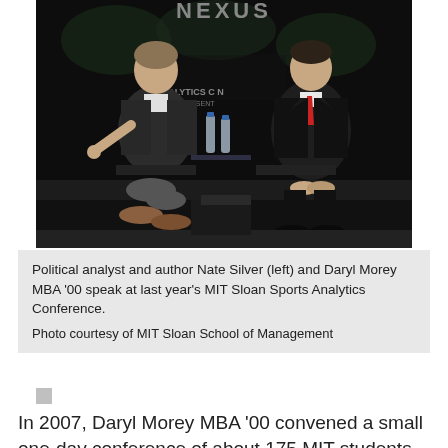[Figure (photo): Two men seated on stage chairs at a conference. Left man in dark blazer with white shirt, right man in dark suit with red tie. Background shows a dark stage with a sign reading ANALYTICS and PRESENT. Two water bottles on a glass table between them.]
Political analyst and author Nate Silver (left) and Daryl Morey MBA '00 speak at last year's MIT Sloan Sports Analytics Conference.
Photo courtesy of MIT Sloan School of Management
In 2007, Daryl Morey MBA '00 convened a small one-day conference of about 175 MIT students, sports fans, and professionals. The sessions, held in MIT classrooms, focused on a niche topic: sports